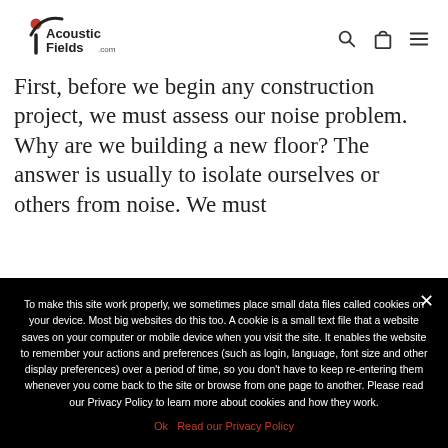[Figure (logo): Acoustic Fields .com logo with a stylized checkmark/swoosh icon in red and black]
First, before we begin any construction project, we must assess our noise problem. Why are we building a new floor? The answer is usually to isolate ourselves or others from noise. We must
To make this site work properly, we sometimes place small data files called cookies on your device. Most big websites do this too. A cookie is a small text file that a website saves on your computer or mobile device when you visit the site. It enables the website to remember your actions and preferences (such as login, language, font size and other display preferences) over a period of time, so you don't have to keep re-entering them whenever you come back to the site or browse from one page to another. Please read our Privacy Policy to learn more about cookies and how they work.
Ok   Read our Privacy Policy